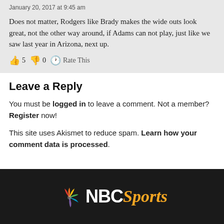January 20, 2017 at 9:45 am
Does not matter, Rodgers like Brady makes the wide outs look great, not the other way around, if Adams can not play, just like we saw last year in Arizona, next up.
👍 5 👎 0 🕐 Rate This
Leave a Reply
You must be logged in to leave a comment. Not a member? Register now!
This site uses Akismet to reduce spam. Learn how your comment data is processed.
[Figure (logo): NBC Sports logo with peacock feathers icon and NBC Sports text in white and gold on dark background]